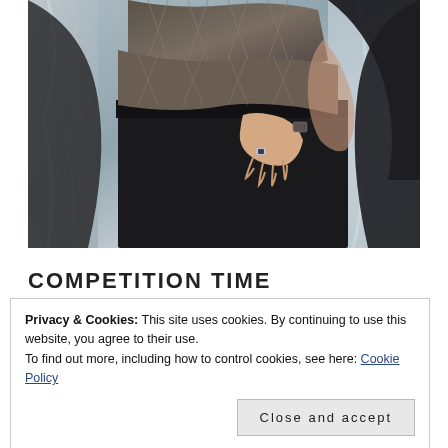[Figure (photo): Close-up photo of a person's midsection wearing a herringbone patterned top and black skirt/pants, with one hand on their hip wearing a ring and watch. Background is blurred silver/blue fabric.]
COMPETITION TIME
Privacy & Cookies: This site uses cookies. By continuing to use this website, you agree to their use.
To find out more, including how to control cookies, see here: Cookie Policy